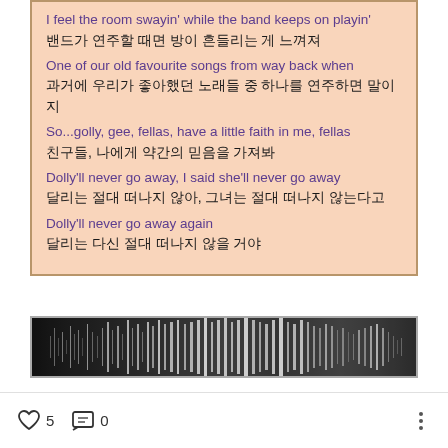I feel the room swayin' while the band keeps on playin'
밴드가 연주할 때면 방이 흔들리는 게 느껴져
One of our old favourite songs from way back when
과거에 우리가 좋아했던 노래들 중 하나를 연주하면 말이지
So...golly, gee, fellas, have a little faith in me, fellas
친구들, 나에게 약간의 믿음을 가져봐
Dolly'll never go away, I said she'll never go away
달리는 절대 떠나지 않아, 그녀는 절대 떠나지 않는다고
Dolly'll never go away again
달리는 다신 절대 떠나지 않을 거야
[Figure (other): Audio waveform visualization — a dark horizontal bar with grayscale waveform pattern showing varying vertical stripe intensities.]
5   0